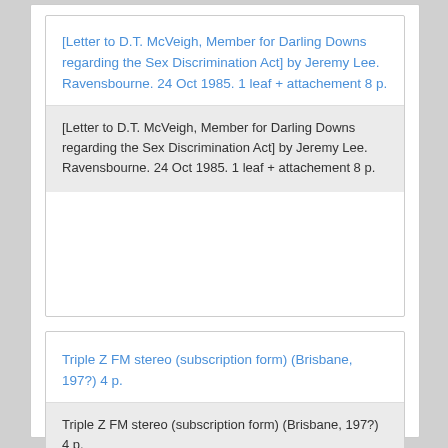[Letter to D.T. McVeigh, Member for Darling Downs regarding the Sex Discrimination Act] by Jeremy Lee. Ravensbourne. 24 Oct 1985. 1 leaf + attachement 8 p.
[Letter to D.T. McVeigh, Member for Darling Downs regarding the Sex Discrimination Act] by Jeremy Lee. Ravensbourne. 24 Oct 1985. 1 leaf + attachement 8 p.
Triple Z FM stereo (subscription form) (Brisbane, 197?) 4 p.
Triple Z FM stereo (subscription form) (Brisbane, 197?) 4 p.